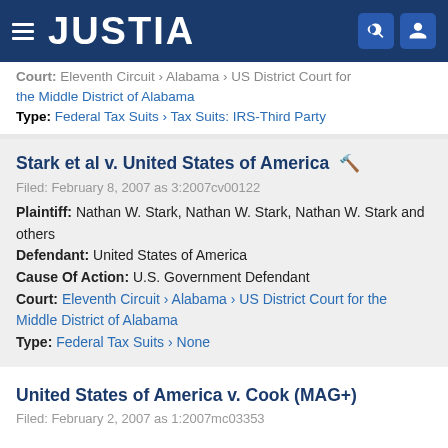JUSTIA
Court: Eleventh Circuit › Alabama › US District Court for the Middle District of Alabama
Type: Federal Tax Suits › Tax Suits: IRS-Third Party
Stark et al v. United States of America
Filed: February 8, 2007 as 3:2007cv00122
Plaintiff: Nathan W. Stark, Nathan W. Stark, Nathan W. Stark and others
Defendant: United States of America
Cause Of Action: U.S. Government Defendant
Court: Eleventh Circuit › Alabama › US District Court for the Middle District of Alabama
Type: Federal Tax Suits › None
United States of America v. Cook (MAG+)
Filed: February 2, 2007 as 1:2007mc03353